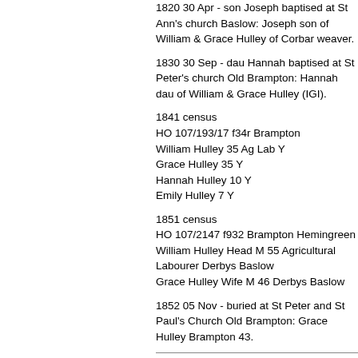1820 30 Apr - son Joseph baptised at St Ann's church Baslow: Joseph son of William & Grace Hulley of Corbar weaver.
1830 30 Sep - dau Hannah baptised at St Peter's church Old Brampton: Hannah dau of William & Grace Hulley (IGI).
1841 census
HO 107/193/17 f34r Brampton
William Hulley 35 Ag Lab Y
Grace Hulley 35 Y
Hannah Hulley 10 Y
Emily Hulley 7 Y
1851 census
HO 107/2147 f932 Brampton Hemingreen
William Hulley Head M 55 Agricultural Labourer Derbys Baslow
Grace Hulley Wife M 46 Derbys Baslow
1852 05 Nov - buried at St Peter and St Paul's Church Old Brampton: Grace Hulley Brampton 43.
214. Joseph Hulley